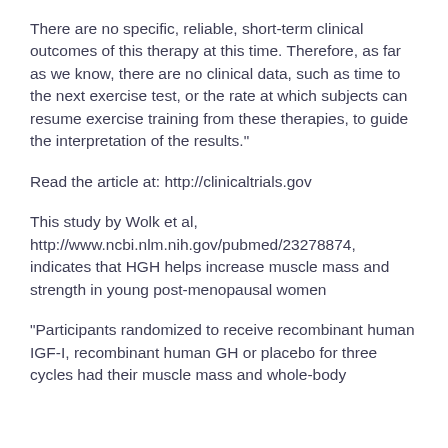There are no specific, reliable, short-term clinical outcomes of this therapy at this time. Therefore, as far as we know, there are no clinical data, such as time to the next exercise test, or the rate at which subjects can resume exercise training from these therapies, to guide the interpretation of the results."
Read the article at: http://clinicaltrials.gov
This study by Wolk et al, http://www.ncbi.nlm.nih.gov/pubmed/23278874, indicates that HGH helps increase muscle mass and strength in young post-menopausal women
"Participants randomized to receive recombinant human IGF-I, recombinant human GH or placebo for three cycles had their muscle mass and whole-body